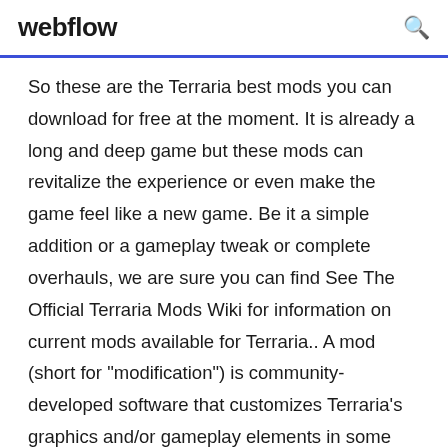webflow
So these are the Terraria best mods you can download for free at the moment. It is already a long and deep game but these mods can revitalize the experience or even make the game feel like a new game. Be it a simple addition or a gameplay tweak or complete overhauls, we are sure you can find See The Official Terraria Mods Wiki for information on current mods available for Terraria.. A mod (short for "modification") is community-developed software that customizes Terraria's graphics and/or gameplay elements in some way. Mods are neither developed nor endorsed by Re-Logic. List of 20 Best Terraria mods in 2020 1. Terraria Overhaul. It is one of the best